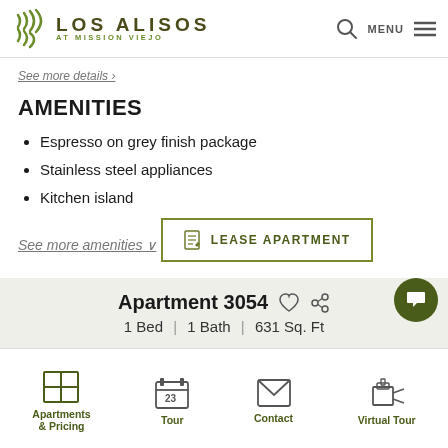LOS ALISOS AT MISSION VIEJO
See more details ›
AMENITIES
Espresso on grey finish package
Stainless steel appliances
Kitchen island
See more amenities ∨
LEASE APARTMENT
Apartment 3054
1 Bed | 1 Bath | 631 Sq. Ft
Apartments & Pricing | Tour | Contact | Virtual Tour